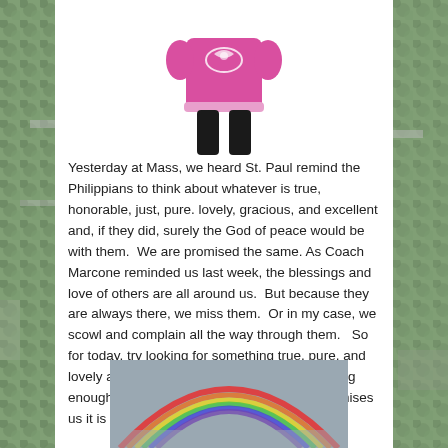[Figure (photo): Person wearing a pink top with white decorative design and black pants, photo cropped to show torso and legs only, white background]
Yesterday at Mass, we heard St. Paul remind the Philippians to think about whatever is true, honorable, just, pure. lovely, gracious, and excellent and, if they did, surely the God of peace would be with them.  We are promised the same. As Coach Marcone reminded us last week, the blessings and love of others are all around us.  But because they are always there, we miss them.  Or in my case, we scowl and complain all the way through them.   So for today, try looking for something true, pure, and lovely about the people in your world.  Stop long enough to appreciate graciousness.  God promises us it is not very far away.
[Figure (photo): Photo of a rainbow arc against a grey cloudy sky]